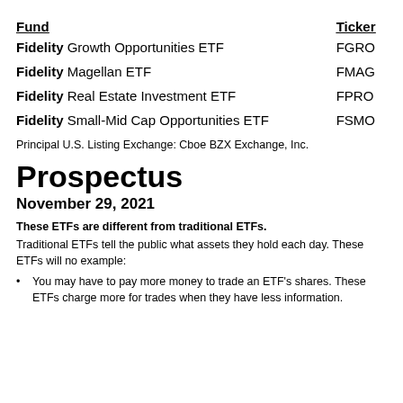| Fund | Ticker |
| --- | --- |
| Fidelity Growth Opportunities ETF | FGRO |
| Fidelity Magellan ETF | FMAG |
| Fidelity Real Estate Investment ETF | FPRO |
| Fidelity Small-Mid Cap Opportunities ETF | FSMO |
Principal U.S. Listing Exchange: Cboe BZX Exchange, Inc.
Prospectus
November 29, 2021
These ETFs are different from traditional ETFs.
Traditional ETFs tell the public what assets they hold each day. These ETFs will no example:
You may have to pay more money to trade an ETF's shares. These ETFs charge more for trades when they have less information.